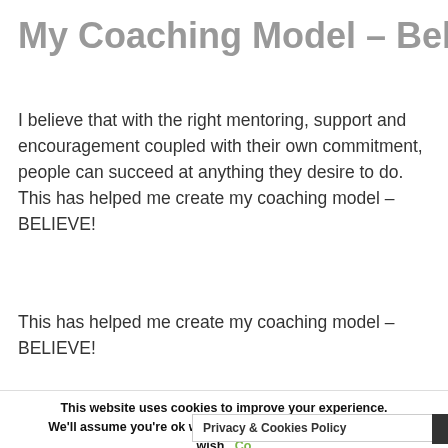My Coaching Model – Believe
I believe that with the right mentoring, support and encouragement coupled with their own commitment, people can succeed at anything they desire to do. This has helped me create my coaching model – BELIEVE!
This has helped me create my coaching model – BELIEVE!
[Figure (flowchart): Partial circular diagram showing coaching model steps: (B) Build Rapport at top, (E) Explore on right, (E) Encourage on left, with curved arrows connecting them in a cycle.]
This website uses cookies to improve your experience. We'll assume you're ok with this, but you can opt-out if you wish.
Privacy & Cookies Policy